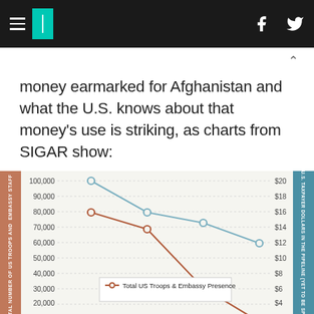HuffPost navigation header
money earmarked for Afghanistan and what the U.S. knows about that money's use is striking, as charts from SIGAR show:
[Figure (line-chart): Total US Troops & Embassy Presence vs US Taxpayer Dollars in the Pipeline]